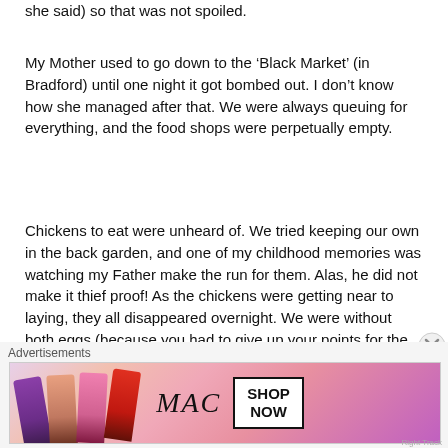she said) so that was not spoiled.
My Mother used to go down to the ‘Black Market’ (in Bradford) until one night it got bombed out. I don’t know how she managed after that. We were always queuing for everything, and the food shops were perpetually empty.
Chickens to eat were unheard of. We tried keeping our own in the back garden, and one of my childhood memories was watching my Father make the run for them. Alas, he did not make it thief proof! As the chickens were getting near to laying, they all disappeared overnight. We were without both eggs (because you had to give up your points for the chicken food) and the chooks themselves.
Watery milk; lentil Irish stew; concentrated orange juice. Everyone ploughed up their lawns to grow
Advertisements
[Figure (photo): MAC cosmetics advertisement showing lipsticks and a SHOP NOW call-to-action box]